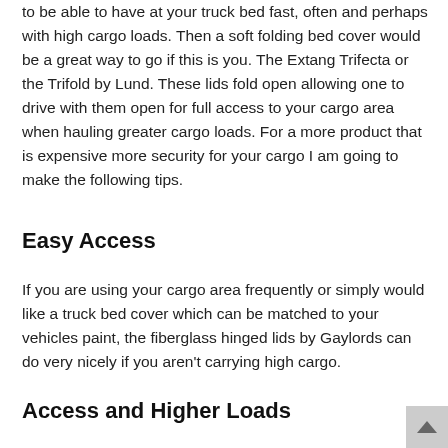to be able to have at your truck bed fast, often and perhaps with high cargo loads. Then a soft folding bed cover would be a great way to go if this is you. The Extang Trifecta or the Trifold by Lund. These lids fold open allowing one to drive with them open for full access to your cargo area when hauling greater cargo loads. For a more product that is expensive more security for your cargo I am going to make the following tips.
Easy Access
If you are using your cargo area frequently or simply would like a truck bed cover which can be matched to your vehicles paint, the fiberglass hinged lids by Gaylords can do very nicely if you aren't carrying high cargo.
Access and Higher Loads